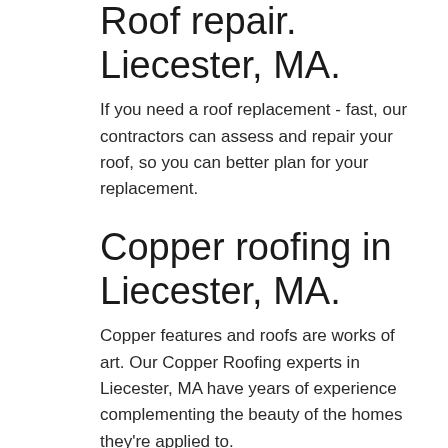Roof repair. Liecester, MA.
If you need a roof replacement - fast, our contractors can assess and repair your roof, so you can better plan for your replacement.
Copper roofing in Liecester, MA.
Copper features and roofs are works of art. Our Copper Roofing experts in Liecester, MA have years of experience complementing the beauty of the homes they're applied to.